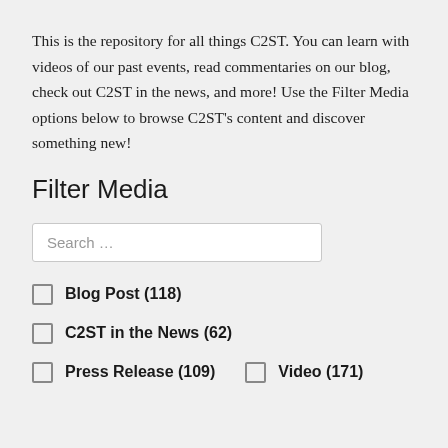This is the repository for all things C2ST. You can learn with videos of our past events, read commentaries on our blog, check out C2ST in the news, and more! Use the Filter Media options below to browse C2ST's content and discover something new!
Filter Media
Search …
Blog Post (118)
C2ST in the News (62)
Press Release (109)
Video (171)